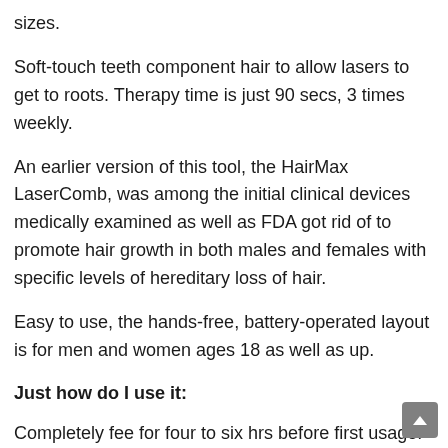sizes.
Soft-touch teeth component hair to allow lasers to get to roots. Therapy time is just 90 secs, 3 times weekly.
An earlier version of this tool, the HairMax LaserComb, was among the initial clinical devices medically examined as well as FDA got rid of to promote hair growth in both males and females with specific levels of hereditary loss of hair.
Easy to use, the hands-free, battery-operated layout is for men and women ages 18 as well as up.
Just how do I use it:
Completely fee for four to six hrs before first usage. Can b utilized on damp or completely dry hair. Press the power